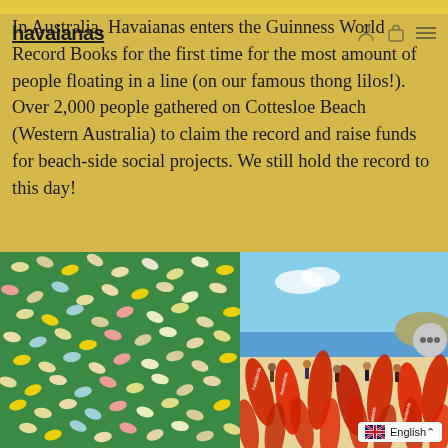havaianas
In Australia, Havaianas enters the Guinness World Record Books for the first time for the most amount of people floating in a line (on our famous thong lilos!). Over 2,000 people gathered on Cottesloe Beach (Western Australia) to claim the record and raise funds for beach-side social projects. We still hold the record to this day!
[Figure (photo): Aerial view of over 2,000 people floating on inflatable thong lilos in the ocean, photographed from above showing a dense colourful pattern of floats in green water]
[Figure (photo): Beach scene at Cottesloe Beach with crowd of people holding large red Havaianas branded inflatable boards/lilos, blue sky and ocean in background]